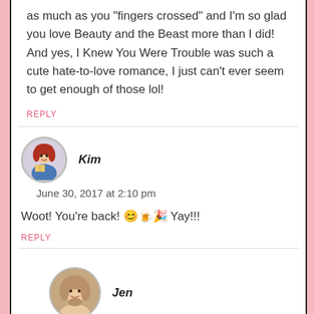as much as you fingers crossed and I'm so glad you love Beauty and the Beast more than I did! And yes, I Knew You Were Trouble was such a cute hate-to-love romance, I just can't ever seem to get enough of those lol!
REPLY
Kim
June 30, 2017 at 2:10 pm
Woot! You're back! 😊🍺🎉 Yay!!!
REPLY
Jen
July 5, 2017 at 10:19 am